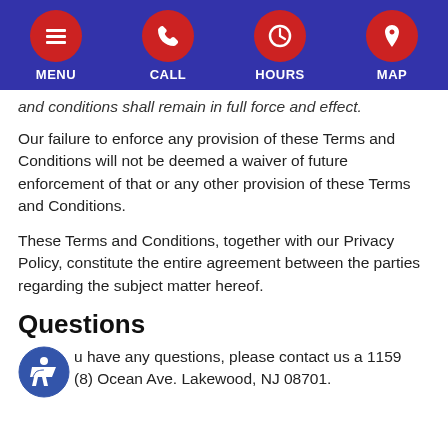MENU | CALL | HOURS | MAP
and conditions shall remain in full force and effect.
Our failure to enforce any provision of these Terms and Conditions will not be deemed a waiver of future enforcement of that or any other provision of these Terms and Conditions.
These Terms and Conditions, together with our Privacy Policy, constitute the entire agreement between the parties regarding the subject matter hereof.
Questions
If you have any questions, please contact us a 1159 (8) Ocean Ave. Lakewood, NJ 08701.